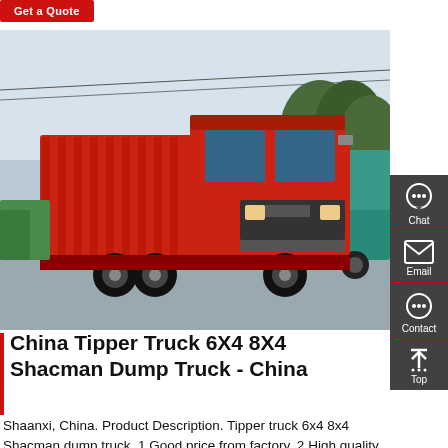[Figure (other): Red button labeled 'Get a Quote']
[Figure (photo): Red Sinotruk HOWO tipper/dump truck parked in a lot, with a teal dump truck visible behind it. Outdoor setting with trees and power lines in background.]
China Tipper Truck 6X4 8X4 Shacman Dump Truck - China
Shaanxi, China. Product Description. Tipper truck 6x4 8x4 Shacman dump truck. 1.Good price from factory. 2.High quality. 3.Quick delivery. 4.Spare parts for sale